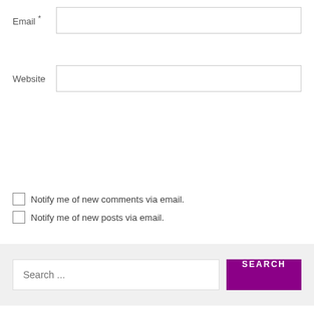Email *
Website
POST COMMENT
Notify me of new comments via email.
Notify me of new posts via email.
Search ...
SEARCH